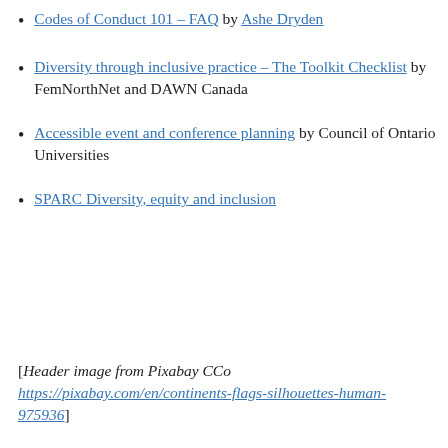Codes of Conduct 101 – FAQ by Ashe Dryden
Diversity through inclusive practice – The Toolkit Checklist by FemNorthNet and DAWN Canada
Accessible event and conference planning by Council of Ontario Universities
SPARC Diversity, equity and inclusion
[Header image from Pixabay CCo https://pixabay.com/en/continents-flags-silhouettes-human-975936]